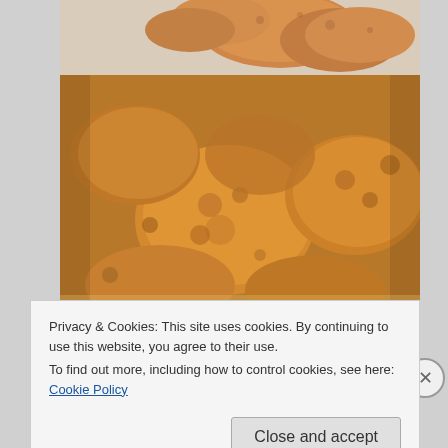[Figure (photo): Partial view of fried food (chicken pieces) on a plate, cropped at top]
[Figure (photo): Close-up photo of golden brown fried chicken pieces in a pile]
Privacy & Cookies: This site uses cookies. By continuing to use this website, you agree to their use.
To find out more, including how to control cookies, see here: Cookie Policy